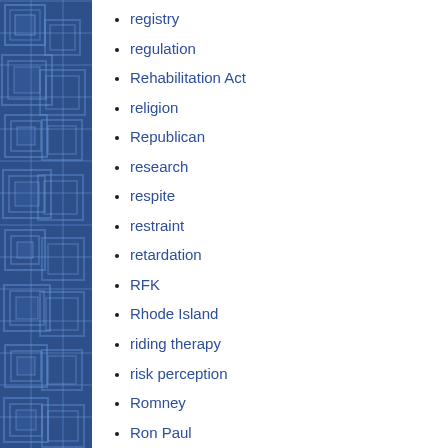registry
regulation
Rehabilitation Act
religion
Republican
research
respite
restraint
retardation
RFK
Rhode Island
riding therapy
risk perception
Romney
Ron Paul
Roy McDonald
Rubio
Russia
S-CHIP
safety
Sally-Anne Test
Samoa